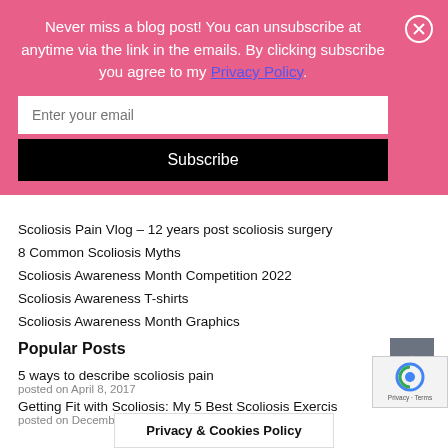Never miss a blog post! You can unsubscribe at anytime via the link in the emails. By clicking subscribe you agree to my Privacy Policy.
Enter your email
Subscribe
Scoliosis Pain Vlog – 12 years post scoliosis surgery
8 Common Scoliosis Myths
Scoliosis Awareness Month Competition 2022
Scoliosis Awareness T-shirts
Scoliosis Awareness Month Graphics
Popular Posts
5 ways to describe scoliosis pain
posted on April 8, 2017
Getting Fit with Scoliosis: My 5 Best Scoliosis Exercis
posted on December 28, 2016
Privacy & Cookies Policy